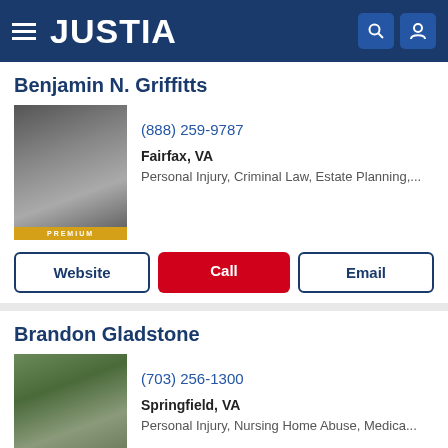JUSTIA
Benjamin N. Griffitts
(888) 259-9787
Fairfax, VA
Personal Injury, Criminal Law, Estate Planning,...
Website
Call
Email
Brandon Gladstone
(703) 256-1300
Springfield, VA
Personal Injury, Nursing Home Abuse, Medica...
Website
Call
Email